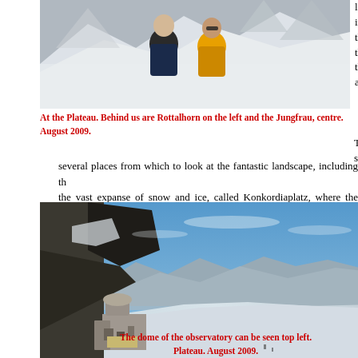[Figure (photo): Two people posing at a snowy mountain plateau, one in dark jacket and one in yellow jacket, snowy peaks in background]
At the Plateau. Behind us are Rottalhorn on the left and the Jungfrau, centre. August 2009.
languages. There is interesting information about the mountains, the glaciers and the astronomical observations at the Jungfrau...
The Jungfraujoch is a saddle of land... several places from which to look at the fantastic landscape, including the vast expanse of snow and ice, called Konkordiaplatz, where the Alets...
[Figure (photo): Wide landscape view of Jungfraujoch observatory building on snowy rocky terrain with vast Aletsch glacier below and mountain peaks in background. The dome of the observatory can be seen top left.]
The dome of the observatory can be seen top left. Plateau. August 2009.